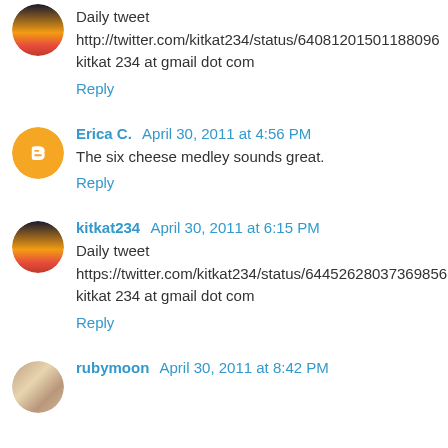Daily tweet http://twitter.com/kitkat234/status/64081201501188096 kitkat 234 at gmail dot com
Reply
Erica C. April 30, 2011 at 4:56 PM
The six cheese medley sounds great.
Reply
kitkat234 April 30, 2011 at 6:15 PM
Daily tweet https://twitter.com/kitkat234/status/64452628037369856 kitkat 234 at gmail dot com
Reply
rubymoon April 30, 2011 at 8:42 PM